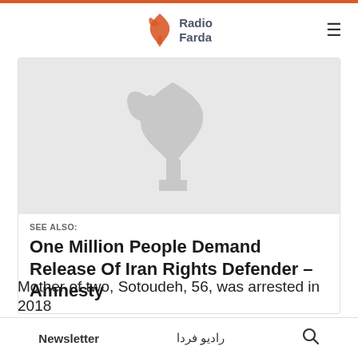Radio Farda
[Figure (logo): Radio Farda logo with orange flame/leaf icon and gray text 'Radio Farda']
[Figure (photo): Gray placeholder image with faded Radio Farda watermark logo]
SEE ALSO:
One Million People Demand Release Of Iran Rights Defender – Amnesty
Mother of two, Sotoudeh, 56, was arrested in 2018
Newsletter    رادیو فردا    🔍